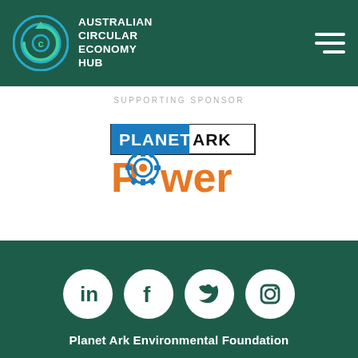Australian Circular Economy Hub
SUPPORTING SPONSOR
[Figure (logo): Planet Ark Power logo — PLANET ARK in bold text inside a bordered box, with 'Power' in orange below, the 'o' replaced by a gear icon in blue/orange]
[Figure (illustration): Social media icons: LinkedIn, Facebook, Twitter, Instagram — white icons in white circles on dark green background]
Planet Ark Environmental Foundation